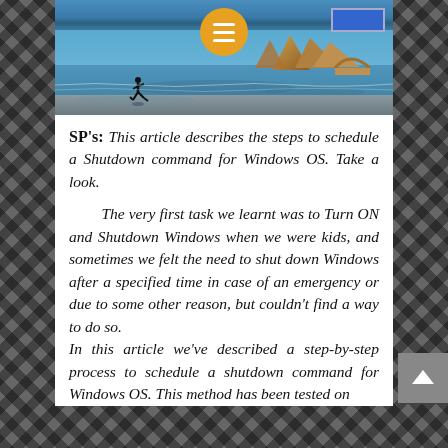[Figure (photo): Beach scene with person running on shore, rocks in background, blue sky. Orange circular menu button at top center. Blue button top-right of image.]
SP's: This article describes the steps to schedule a Shutdown command for Windows OS. Take a look.
The very first task we learnt was to Turn ON and Shutdown Windows when we were kids, and sometimes we felt the need to shut down Windows after a specified time in case of an emergency or due to some other reason, but couldn't find a way to do so. In this article we've described a step-by-step process to schedule a shutdown command for Windows OS. This method has been tested on Windows 10, 8, Windows 7, but falls it'll work on